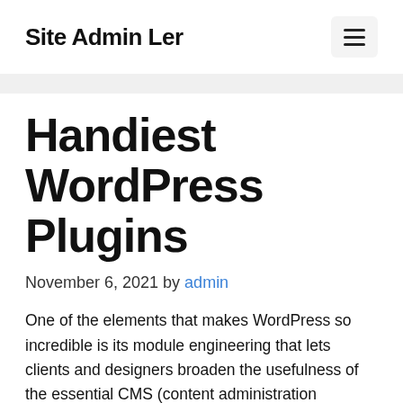Site Admin Ler
Handiest WordPress Plugins
November 6, 2021 by admin
One of the elements that makes WordPress so incredible is its module engineering that lets clients and designers broaden the usefulness of the essential CMS (content administration framework).